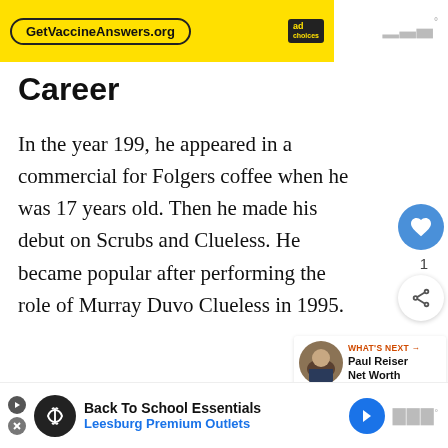[Figure (screenshot): Yellow banner advertisement for GetVaccineAnswers.org with AdChoices icon]
Career
In the year 199, he appeared in a commercial for Folgers coffee when he was 17 years old. Then he made his debut on Scrubs and Clueless. He became popular after performing the role of Murray Duvo Clueless in 1995.
Moreover, Faison also played a supporting ro
[Figure (screenshot): What's Next panel showing Paul Reiser Net Worth with photo]
[Figure (screenshot): Bottom advertisement for Back To School Essentials - Leesburg Premium Outlets]